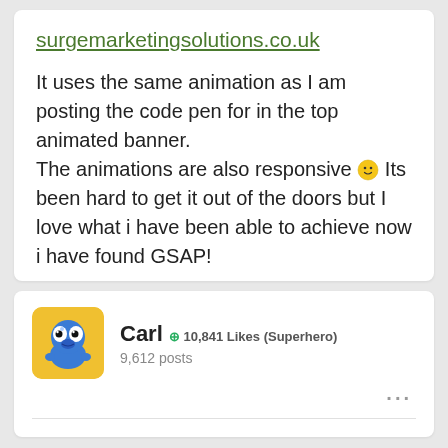surgemarketingsolutions.co.uk
It uses the same animation as I am posting the code pen for in the top animated banner. The animations are also responsive 🙂 Its been hard to get it out of the doors but I love what i have been able to achieve now i have found GSAP!
Carl  +10,841 Likes (Superhero)
9,612 posts